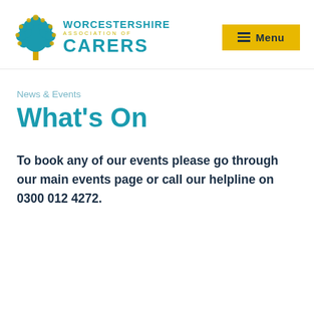Worcestershire Association of Carers — Menu
News & Events
What's On
To book any of our events please go through our main events page or call our helpline on 0300 012 4272.